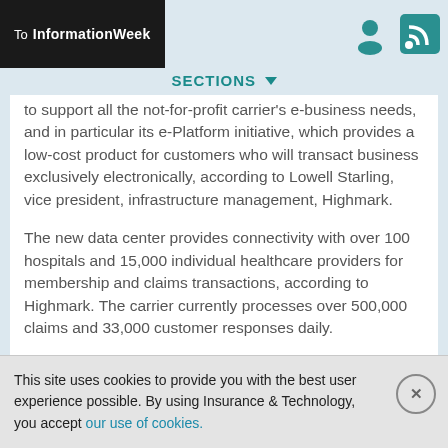To InformationWeek
to support all the not-for-profit carrier's e-business needs, and in particular its e-Platform initiative, which provides a low-cost product for customers who will transact business exclusively electronically, according to Lowell Starling, vice president, infrastructure management, Highmark.
The new data center provides connectivity with over 100 hospitals and 15,000 individual healthcare providers for membership and claims transactions, according to Highmark. The carrier currently processes over 500,000 claims and 33,000 customer responses daily.
In addition to providing necessary capability
This site uses cookies to provide you with the best user experience possible. By using Insurance & Technology, you accept our use of cookies.